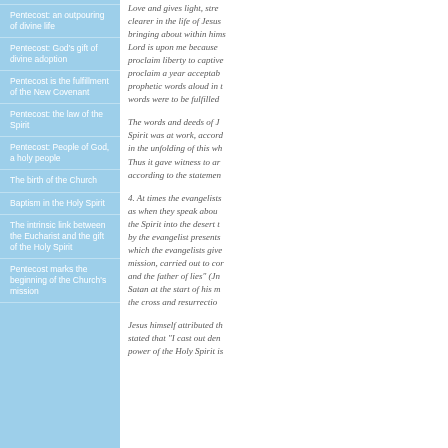Pentecost: an outpouring of divine life
Pentecost: God’s gift of divine adoption
Pentecost is the fulfillment of the New Covenant
Pentecost: the law of the Spirit
Pentecost: People of God, a holy people
The birth of the Church
Baptism in the Holy Spirit
The intrinsic link between the Eucharist and the gift of the Holy Spirit
Pentecost marks the beginning of the Church’s mission
Love and gives light, stre... clearer in the life of Jesus... bringing about within hims... Lord is upon me because... proclaim liberty to captive... proclaim a year acceptab... prophetic words aloud in t... words were to be fulfilled...
The words and deeds of J... Spirit was at work, accor... in the unfolding of this wh... Thus it gave witness to ar... according to the statemen...
4. At times the evangelists... as when they speak abou... the Spirit into the desert t... by the evangelist presents... which the evangelists give... mission, carried out to cor... and the father of lies" (Jn... Satan at the start of his m... the cross and resurrectio...
Jesus himself attributed th... stated that "I cast out dem... power of the Holy Spirit is...